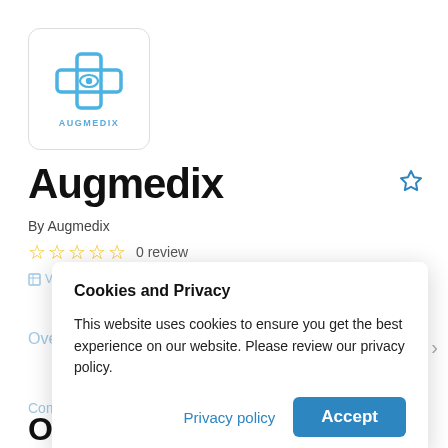[Figure (logo): Augmedix app logo: blue medical cross with an eye icon, with text AUGMEDIX below, inside a rounded white box with border]
Augmedix
By Augmedix
☆☆☆☆☆ 0 review
Cookies and Privacy

This website uses cookies to ensure you get the best experience on our website. Please review our privacy policy.

Privacy policy   Accept